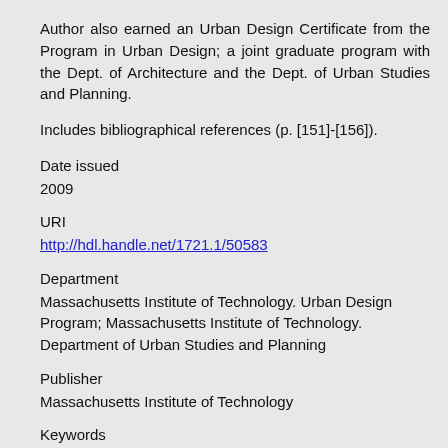Author also earned an Urban Design Certificate from the Program in Urban Design; a joint graduate program with the Dept. of Architecture and the Dept. of Urban Studies and Planning.
Includes bibliographical references (p. [151]-[156]).
Date issued
2009
URI
http://hdl.handle.net/1721.1/50583
Department
Massachusetts Institute of Technology. Urban Design Program; Massachusetts Institute of Technology. Department of Urban Studies and Planning
Publisher
Massachusetts Institute of Technology
Keywords